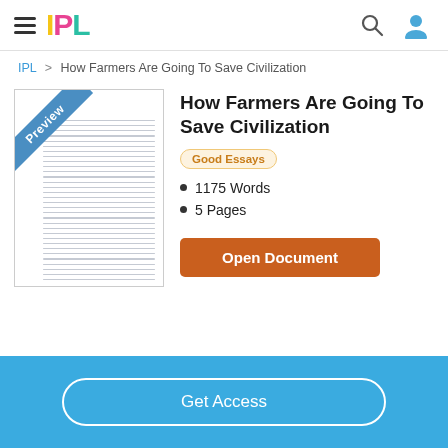IPL
IPL > How Farmers Are Going To Save Civilization
[Figure (illustration): Document preview card with blue 'Preview' diagonal banner in top-left corner and horizontal text lines representing document content]
How Farmers Are Going To Save Civilization
Good Essays
1175 Words
5 Pages
Open Document
Get Access